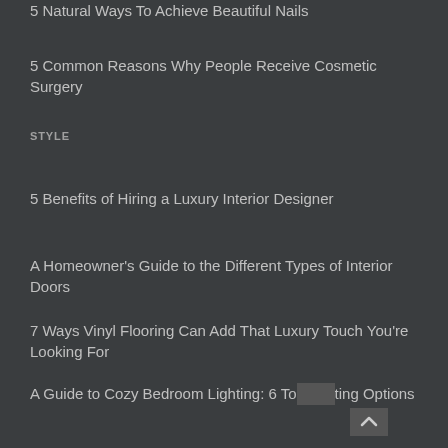5 Natural Ways To Achieve Beautiful Nails
5 Common Reasons Why People Receive Cosmetic Surgery
STYLE
5 Benefits of Hiring a Luxury Interior Designer
A Homeowner's Guide to the Different Types of Interior Doors
7 Ways Vinyl Flooring Can Add That Luxury Touch You're Looking For
A Guide to Cozy Bedroom Lighting: 6 Top Lighting Options